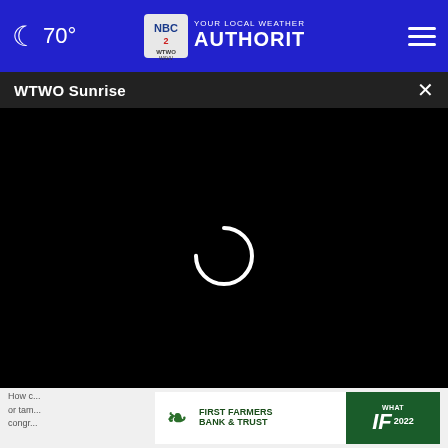🌙 70° | NBC 2 WTWO WAVV YOUR LOCAL WEATHER AUTHORITY | ☰
WTWO Sunrise ×
[Figure (screenshot): Black video player area with white loading spinner (partial circle) in the center]
WHAT DO YOU THINK?
[Figure (illustration): First Farmers Bank & Trust advertisement banner with logo and 'WHAT IF 2022' text on green background]
How d... or tam... congr...